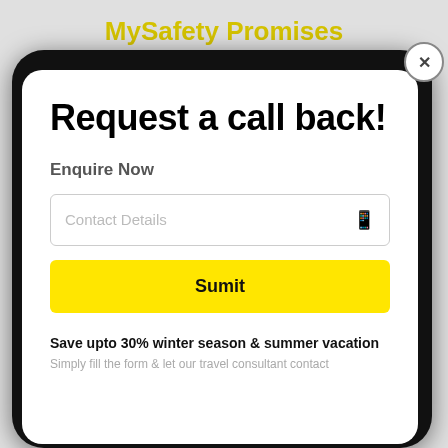MySafety Promises
Select Indian States & UTs have enforced specific travel guidelines
✓ Drivers with Masks
✓ Sanitized Cabs
[Figure (screenshot): Mobile phone modal popup showing a callback request form with title 'Request a call back!', an 'Enquire Now' label, a 'Contact Details' input field, a yellow 'Sumit' submit button, and text 'Save upto 30% winter season & summer vacation']
Request a call back!
Enquire Now
Contact Details
Sumit
Save upto 30% winter season & summer vacation
Simply fill the form & let our travel consultant contact